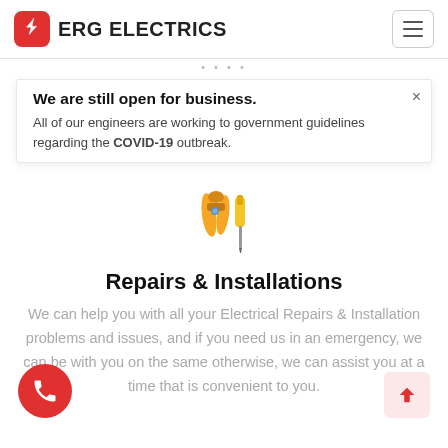ERG ELECTRICS
We are still open for business.
All of our engineers are working to government guidelines regarding the COVID-19 outbreak.
[Figure (illustration): Tools illustration: orange pliers and yellow screwdriver]
Repairs & Installations
We can help you with all your Electrical Repairs & Installation problems and issues, and if you need us in an emergency, we can be with you on the same otherwise, we can assist you at a time that is convenient to you.